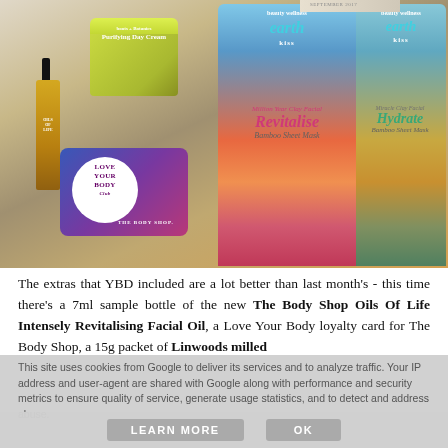[Figure (photo): Flat lay photo of beauty products including a green Botanics Purifying Day Cream jar, a gold dropper bottle labelled Oils of Life, a Love Your Body Club loyalty card for The Body Shop, and two Earth Kiss bamboo sheet masks (Million Year Clay Facial Revitalise and Miracle Clay Facial Hydrate), with a September 2017 booklet in the background.]
The extras that YBD included are a lot better than last month's - this time there's a 7ml sample bottle of the new The Body Shop Oils Of Life Intensely Revitalising Facial Oil, a Love Your Body loyalty card for The Body Shop, a 15g packet of Linwoods milled
This site uses cookies from Google to deliver its services and to analyze traffic. Your IP address and user-agent are shared with Google along with performance and security metrics to ensure quality of service, generate usage statistics, and to detect and address abuse.